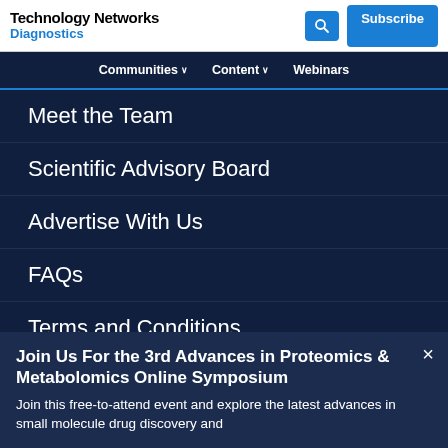Technology Networks Diagnostics
Communities
Content
Webinars
Meet the Team
Scientific Advisory Board
Advertise With Us
FAQs
Terms and Conditions
Privacy Policy and Disclaimer
Join Us For the 3rd Advances in Proteomics & Metabolomics Online Symposium
Join this free-to-attend event and explore the latest advances in small molecule drug discovery and